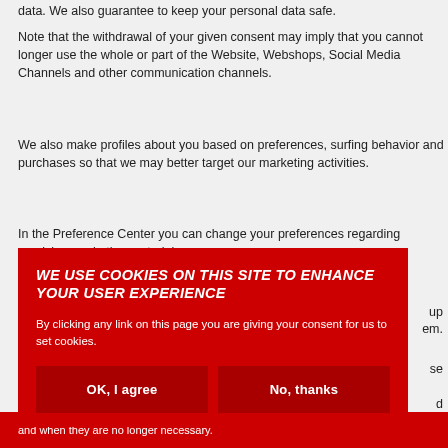data. We also guarantee to keep your personal data safe.
Note that the withdrawal of your given consent may imply that you cannot longer use the whole or part of the Website, Webshops, Social Media Channels and other communication channels.
We also make profiles about you based on preferences, surfing behavior and purchases so that we may better target our marketing activities.
In the Preference Center you can change your preferences regarding receiving marketing materials.
[Figure (screenshot): Cookie consent banner with red background. Title: 'WE USE COOKIES ON THIS SITE TO ENHANCE YOUR USER EXPERIENCE'. Body text: 'By clicking any link on this page you are giving your consent for us to set cookies.' Two buttons: 'OK, I agree' and 'No, thanks'.]
and when they are no longer necessary.